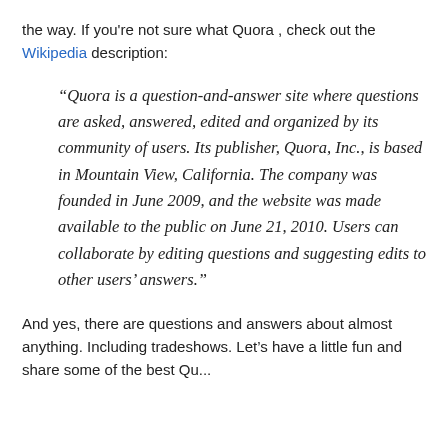the way. If you're not sure what Quora , check out the Wikipedia description:
“Quora is a question-and-answer site where questions are asked, answered, edited and organized by its community of users. Its publisher, Quora, Inc., is based in Mountain View, California. The company was founded in June 2009, and the website was made available to the public on June 21, 2010. Users can collaborate by editing questions and suggesting edits to other users’ answers.”
And yes, there are questions and answers about almost anything. Including tradeshows. Let’s have a little fun and share some of the best Ques...